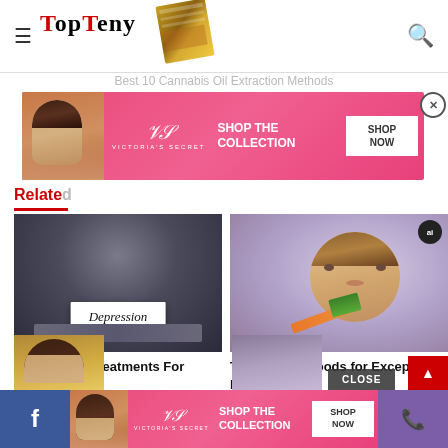TopTeny
Best 10 Cannabis Oil Extraction Methods
[Figure (infographic): Victoria's Secret advertisement banner with model, VS logo, SHOP THE COLLECTION text and SHOP NOW button]
Relate
[Figure (photo): Person holding a torn paper sign reading 'Depression' against a dark background]
Top 10 Best Treatments For Depression
[Figure (photo): Child with curly hair eating a carrot, purple background, ai badge]
Top 10 Superfoods for Exceptional Healthy Kids
[Figure (infographic): Victoria's Secret advertisement banner at bottom with model, VS logo, SHOP THE COLLECTION text and SHOP NOW button]
Facebook button | Phone button | CLOSE button